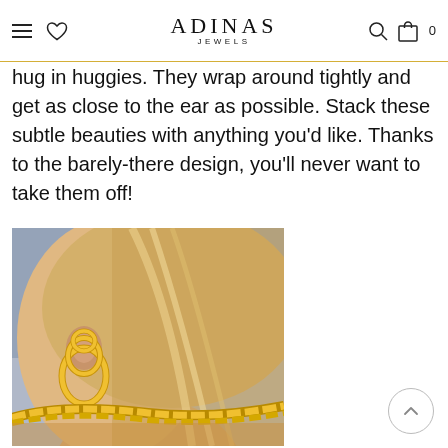ADINAS JEWELS
hug in huggies. They wrap around tightly and get as close to the ear as possible. Stack these subtle beauties with anything you'd like. Thanks to the barely-there design, you'll never want to take them off!
[Figure (photo): Close-up photo of a woman with blonde hair wearing gold huggie hoop earrings and a gold chain necklace, shown from the side.]